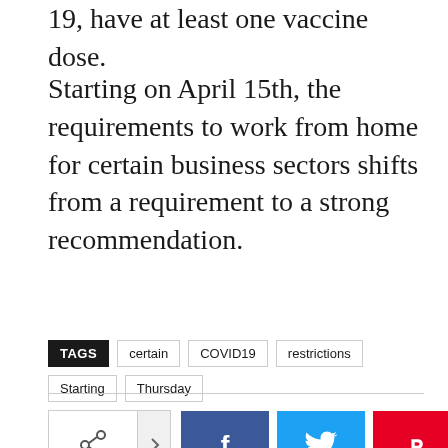19, have at least one vaccine dose.
Starting on April 15th, the requirements to work from home for certain business sectors shifts from a requirement to a strong recommendation.
TAGS: certain | COVID19 | restrictions | Starting | Thursday
[Figure (other): Social share buttons: share icon with arrow, Facebook (f), Twitter (bird), Pinterest (P), WhatsApp (phone)]